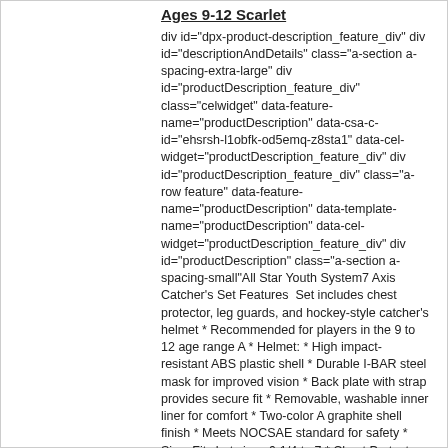Ages 9-12 Scarlet
div id="dpx-product-description_feature_div" div id="descriptionAndDetails" class="a-section a-spacing-extra-large" div id="productDescription_feature_div" class="celwidget" data-feature-name="productDescription" data-csa-c-id="ehsrsh-l1obfk-od5emq-z8sta1" data-cel-widget="productDescription_feature_div" div id="productDescription_feature_div" class="a-row feature" data-feature-name="productDescription" data-template-name="productDescription" data-cel-widget="productDescription_feature_div" div id="productDescription" class="a-section a-spacing-small"All Star Youth System7 Axis Catcher's Set Features  Set includes chest protector, leg guards, and hockey-style catcher's helmet * Recommended for players in the 9 to 12 age range A * Helmet: * High impact-resistant ABS plastic shell * Durable I-BAR steel mask for improved vision * Back plate with strap provides secure fit * Removable, washable inner liner for comfort * Two-color A graphite shell finish * Meets NOCSAE standard for safety * Size: Fits hat sizes 6-1/4 to 7 * Chest Protector: * Meets new NOCSAE standard for safety  Diamond vents on back for lightweight breathability * Internal PE protective plates for added safety * Stainless steel matte black hardware * Thin, form-fitting Delta Flex harness * Improved break points for improved blocking and control * Size: 14.5" * Leg Guards: pivoting hinge system for superior mobility * Wider, smoother knee for improved padding and sliding * Diamo...